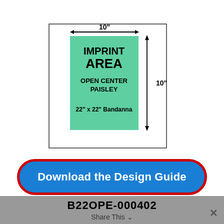[Figure (schematic): Imprint area diagram for a 22" x 22" Bandanna showing a green rectangle labeled IMPRINT AREA OPEN CENTER PAISLEY inside a white square, with dimension arrows: 10" wide and 10" tall.]
Download the Design Guide
B22OPE-000402
Share This